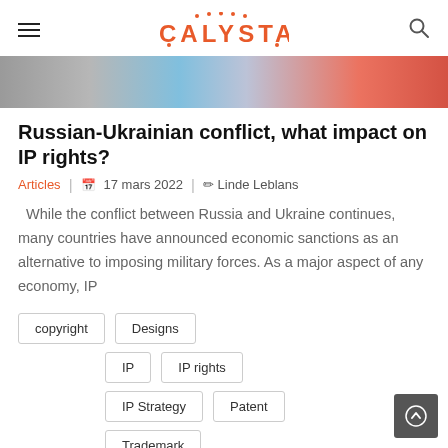CALYSTA
[Figure (photo): Hero image showing abstract colorful background with grey, blue, and red tones]
Russian-Ukrainian conflict, what impact on IP rights?
Articles | 17 mars 2022 | Linde Leblans
While the conflict between Russia and Ukraine continues, many countries have announced economic sanctions as an alternative to imposing military forces. As a major aspect of any economy, IP
copyright
Designs
IP
IP rights
IP Strategy
Patent
Trademark